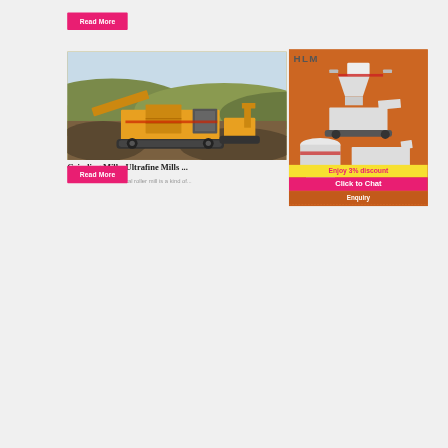[Figure (other): Pink/red Read More button at top]
[Figure (photo): Yellow mobile crushing/mining machine on a dirt hillside landscape]
Grinding Mills, Ultrafine Mills ...
HLM Series vertical roller mill is a kind of...
[Figure (infographic): Orange sidebar advertisement for HLM with images of industrial mill equipment, Enjoy 3% discount banner, Click to Chat button, Enquiry section, and limingjlmofen@sina.com email]
[Figure (other): Pink/red Read More button at bottom]